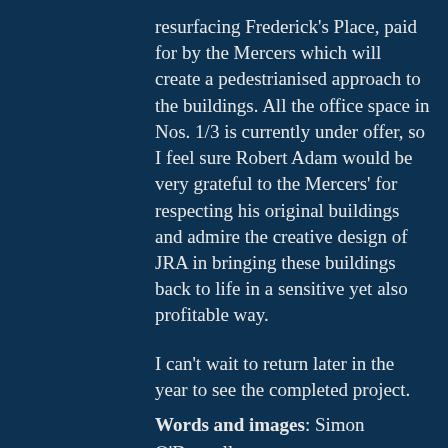resurfacing Frederick's Place, paid for by the Mercers which will create a pedestrianised approach to the buildings. All the office space in Nos. 1/3 is currently under offer, so I feel sure Robert Adam would be very grateful to the Mercers' for respecting his original buildings and admire the creative design of JRA in bringing these buildings back to life in a sensitive yet also profitable way.

I can't wait to return later in the year to see the completed project.
Words and images: Simon O'Donnell City Architecture Forum member Priority Real Estate